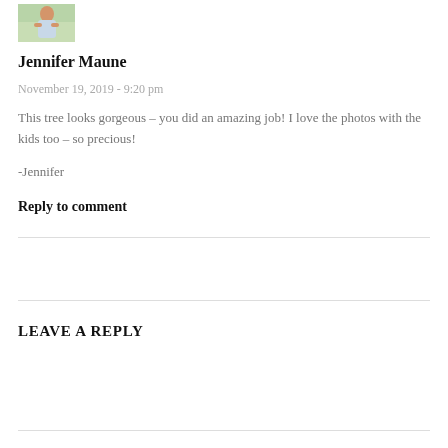[Figure (photo): Small avatar/profile photo of a woman standing with arms crossed, outdoors with green background]
Jennifer Maune
November 19, 2019 - 9:20 pm
This tree looks gorgeous – you did an amazing job! I love the photos with the kids too – so precious!
-Jennifer
Reply to comment
LEAVE A REPLY